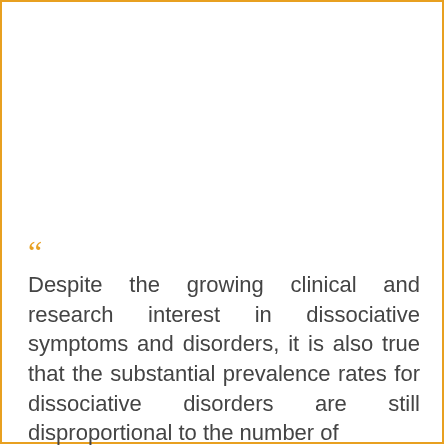“Despite the growing clinical and research interest in dissociative symptoms and disorders, it is also true that the substantial prevalence rates for dissociative disorders are still disproportional to the number of